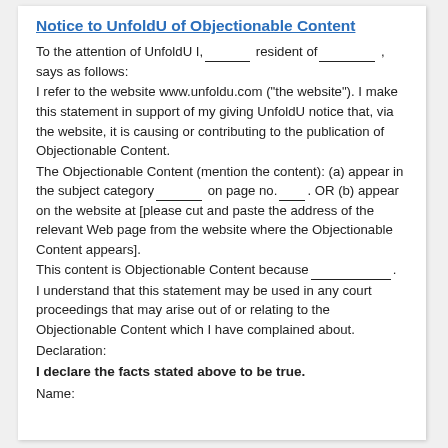Notice to UnfoldU of Objectionable Content
To the attention of UnfoldU I, ______ resident of________ , says as follows:
I refer to the website www.unfoldu.com ("the website"). I make this statement in support of my giving UnfoldU notice that, via the website, it is causing or contributing to the publication of Objectionable Content.
The Objectionable Content (mention the content): (a) appear in the subject category _____ on page no. ___. OR (b) appear on the website at [please cut and paste the address of the relevant Web page from the website where the Objectionable Content appears].
This content is Objectionable Content because _________.
I understand that this statement may be used in any court proceedings that may arise out of or relating to the Objectionable Content which I have complained about.
Declaration:
I declare the facts stated above to be true.
Name: